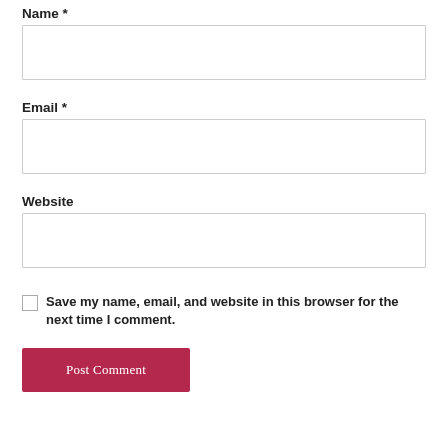Name *
(Name input field)
Email *
(Email input field)
Website
(Website input field)
Save my name, email, and website in this browser for the next time I comment.
Post Comment